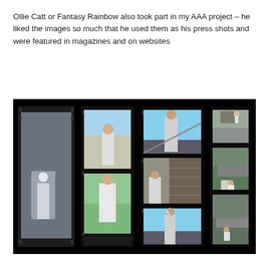Ollie Catt or Fantasy Rainbow also took part in my AAA project – he liked the images so much that he used them as his press shots and were featured in magazines and on websites
[Figure (photo): A film contact sheet on a black background showing multiple photographs of a young man wearing a white graphic t-shirt in various locations including indoors and on a fire escape staircase. The contact sheet is organized in 4 vertical strips showing approximately 8 images total.]